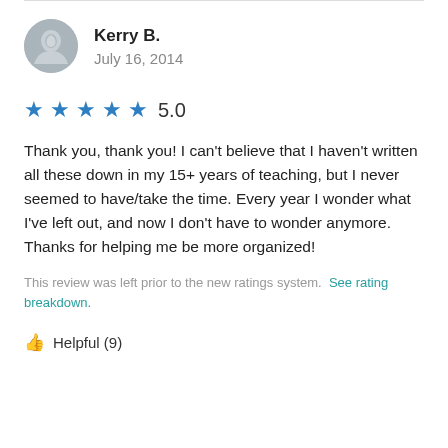Kerry B.
July 16, 2014
5.0
Thank you, thank you!  I can't believe that I haven't written all these down in my 15+ years of teaching, but I never seemed to have/take the time.  Every year I wonder what I've left out, and now I don't have to wonder anymore. Thanks for helping me be more organized!
This review was left prior to the new ratings system. See rating breakdown.
Helpful (9)